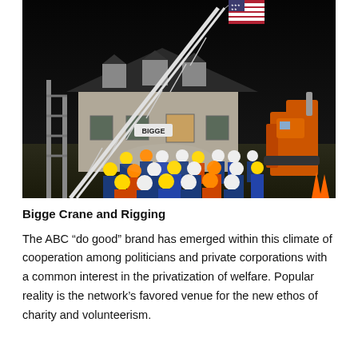[Figure (photo): Night-time construction scene showing a house being built or moved. A Bigge crane is visible with an American flag attached. Workers in hard hats and reflective vests surround the site. Construction equipment including an excavator is visible on the right.]
Bigge Crane and Rigging
The ABC “do good” brand has emerged within this climate of cooperation among politicians and private corporations with a common interest in the privatization of welfare. Popular reality is the network’s favored venue for the new ethos of charity and volunteerism.